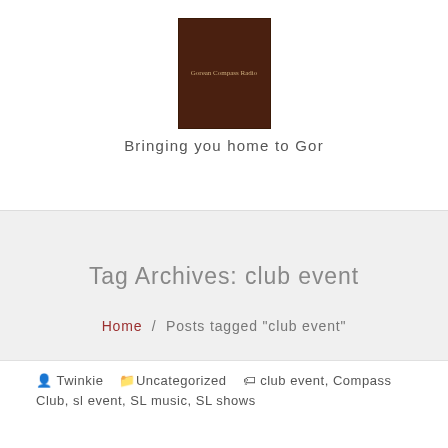Bringing you home to Gor
Tag Archives: club event
Home / Posts tagged "club event"
Twinkie  Uncategorized  club event, Compass Club, sl event, SL music, SL shows